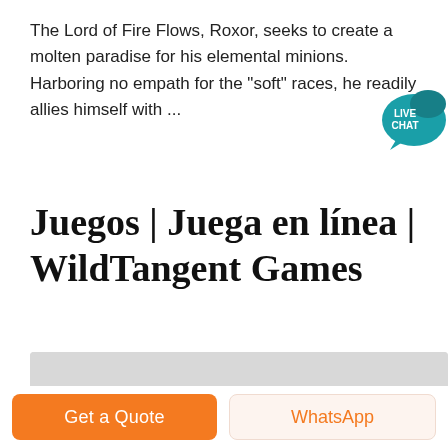The Lord of Fire Flows, Roxor, seeks to create a molten paradise for his elemental minions. Harboring no empath for the "soft" races, he readily allies himself with ...
[Figure (illustration): Live chat speech bubble icon in teal/dark-cyan color with white text reading LIVE CHAT]
Juegos | Juega en línea | WildTangent Games
[Figure (screenshot): Gray background screenshot area with a small dark mark in the center and a red circle partially visible in the bottom right corner]
Get a Quote
WhatsApp